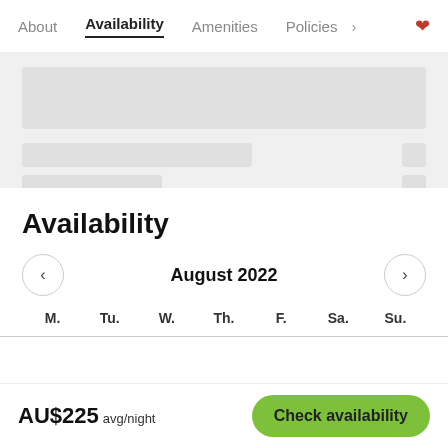About | Availability | Amenities | Policies
[Figure (screenshot): Blurred/loading image placeholder with grey blocks representing a property photo]
Availability
August 2022
M. Tu. W. Th. F. Sa. Su.
AU$225 avg/night
Check availability